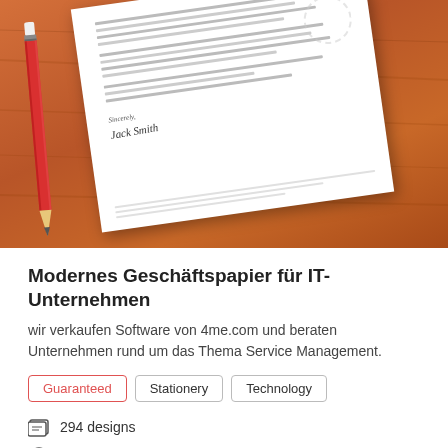[Figure (photo): Photo of a business letter document on a wooden table with a red pencil beside it. The document shows lorem ipsum text, a signature reading 'Sincerely, Jack Smith', and footer details.]
Modernes Geschäftspapier für IT-Unternehmen
wir verkaufen Software von 4me.com und beraten Unternehmen rund um das Thema Service Management.
Guaranteed  Stationery  Technology
294 designs
Finished